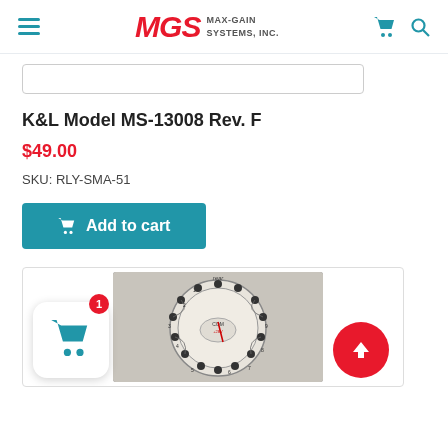MGS MAX-GAIN SYSTEMS, INC.
K&L Model MS-13008 Rev. F
$49.00
SKU: RLY-SMA-51
Add to cart
[Figure (photo): Rear view of a circular relay switch component (K&L Model MS-13008 Rev. F) showing multiple connector pins arranged in a circle with labeled positions and a central indicator.]